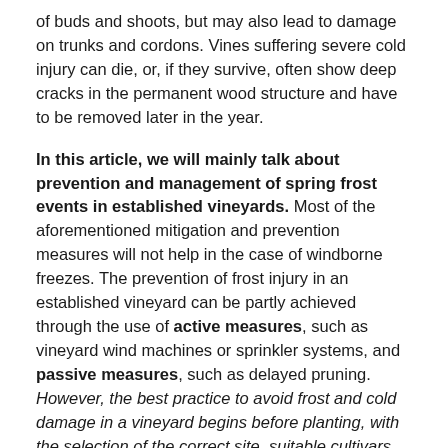of buds and shoots, but may also lead to damage on trunks and cordons. Vines suffering severe cold injury can die, or, if they survive, often show deep cracks in the permanent wood structure and have to be removed later in the year.
In this article, we will mainly talk about prevention and management of spring frost events in established vineyards. Most of the aforementioned mitigation and prevention measures will not help in the case of windborne freezes. The prevention of frost injury in an established vineyard can be partly achieved through the use of active measures, such as vineyard wind machines or sprinkler systems, and passive measures, such as delayed pruning. However, the best practice to avoid frost and cold damage in a vineyard begins before planting, with the selection of the correct site, suitable cultivars, and the best training systems.